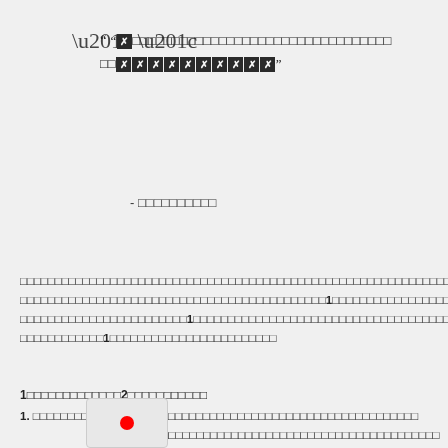“ “[REDACTED][REDACTED][REDACTED][REDACTED][REDACTED][REDACTED][REDACTED][REDACTED][REDACTED][REDACTED][REDACTED][REDACTED][REDACTED][REDACTED][REDACTED][REDACTED][REDACTED][REDACTED][REDACTED][REDACTED][REDACTED][REDACTED][REDACTED][REDACTED][REDACTED][REDACTED][REDACTED][REDACTED][REDACTED][REDACTED][REDACTED][REDACTED][REDACTED][REDACTED]”
- [REDACTED][REDACTED][REDACTED][REDACTED][REDACTED][REDACTED][REDACTED][REDACTED][REDACTED][REDACTED]
[Redacted body text paragraph with references to footnote 1]
1[REDACTED] 2[REDACTED]
1. [REDACTED] - [REDACTED]
[REDACTED continued]